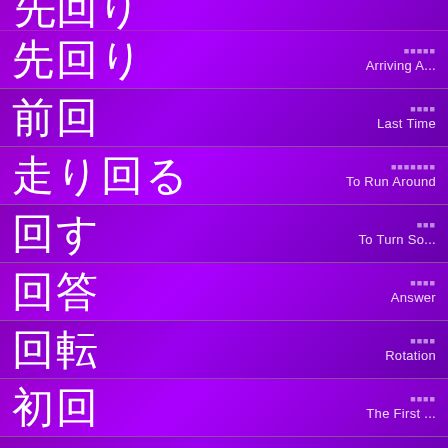先回り — Arriving A...
前回 — Last Time
走り回る — To Run Around
回す — To Turn So...
回答 — Answer
回転 — Rotation
初回 — The First ...
回想 — Retrospection